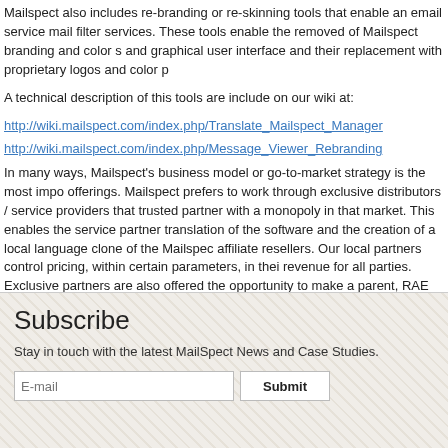Mailspect also includes re-branding or re-skinning tools that enable an email service mail filter services. These tools enable the removed of Mailspect branding and color s and graphical user interface and their replacement with proprietary logos and color p
A technical description of this tools are include on our wiki at:
http://wiki.mailspect.com/index.php/Translate_Mailspect_Manager
http://wiki.mailspect.com/index.php/Message_Viewer_Rebranding
In many ways, Mailspect's business model or go-to-market strategy is the most impo offerings. Mailspect prefers to work through exclusive distributors / service providers that trusted partner with a monopoly in that market. This enables the service partner translation of the software and the creation of a local language clone of the Mailspec affiliate resellers. Our local partners control pricing, within certain parameters, in thei revenue for all parties. Exclusive partners are also offered the opportunity to make a parent, RAE Internet Inc. Currently, Mailspect has ISP's providing private label mail fi States, Germany, the United Kingdom, Australia, Mexico, Poland, Hungary, and Den
Subscribe
Stay in touch with the latest MailSpect News and Case Studies.
E-mail   Submit